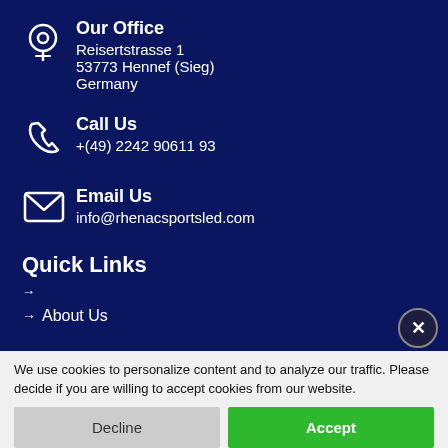Our Office
Reisertstrasse 1
53773 Hennef (Sieg)
Germany
Call Us
+(49) 2242 90611 93
Email Us
info@rhenacsportsled.com
Quick Links
About Us
We use cookies to personalize content and to analyze our traffic. Please decide if you are willing to accept cookies from our website.